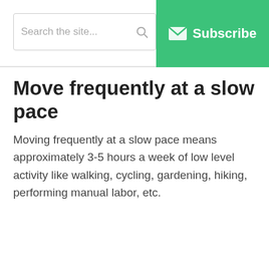Search the site... | Subscribe
Move frequently at a slow pace
Moving frequently at a slow pace means approximately 3-5 hours a week of low level activity like walking, cycling, gardening, hiking, performing manual labor, etc.
This website stores cookies on your computer. These cookies are used to collect information about how you interact with our website and allow us to remember you. We use this information in order to improve and customize your browsing experience and for analytics and metrics about our visitors both on this website and other media. To find out more about the cookies we use, see our Privacy Policy
Accept